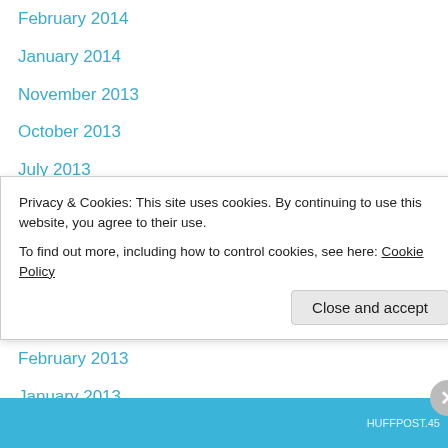February 2014
January 2014
November 2013
October 2013
July 2013
June 2013
May 2013
April 2013
March 2013
February 2013
January 2013
December 2012
November 2012
October 2012
Privacy & Cookies: This site uses cookies. By continuing to use this website, you agree to their use.
To find out more, including how to control cookies, see here: Cookie Policy
Close and accept